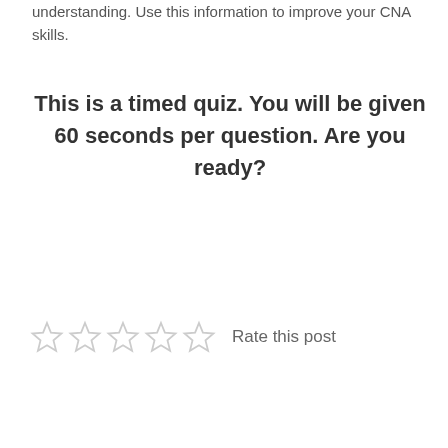understanding. Use this information to improve your CNA skills.
This is a timed quiz. You will be given 60 seconds per question. Are you ready?
[Figure (other): Green 'Begin!' button]
[Figure (other): Five empty star rating icons with 'Rate this post' label]